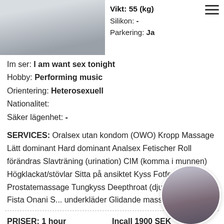[Figure (photo): Photo of a person in white top, partial upper body view]
Vikt: 55 (kg)
Silikon: -
Parkering: Ja
Im ser: I am want sex tonight
Hobby: Performing music
Orientering: Heterosexuell
Nationalitet:
Säker lägenhet: -
SERVICES: Oralsex utan kondom (OWO) Kropp Massage Lätt dominant Hard dominant Analsex Fetischer Roll förändras Slavträning (urination) CIM (komma i munnen) Högklackat/stövlar Sitta på ansiktet Kyss Fotfetisch Prostatemassage Tungkyss Deepthroat (djupt i halsen) Fista Onani S... underkläder Glidande massage
[Figure (photo): Circular profile photo of a dark-haired woman]
PRISER: 1 hour   Incall 1900 SEK
Outcall 2600+ Outcall travel fee(taxi) SEK